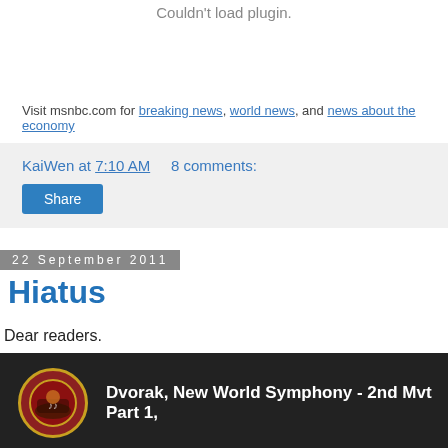Couldn't load plugin.
Visit msnbc.com for breaking news, world news, and news about the economy
KaiWen at 7:10 AM    8 comments:
Share
22 September 2011
Hiatus
Dear readers.
[Figure (screenshot): YouTube video thumbnail for 'Dvorak, New World Symphony - 2nd Mvt Part 1,' with circular orchestra icon]